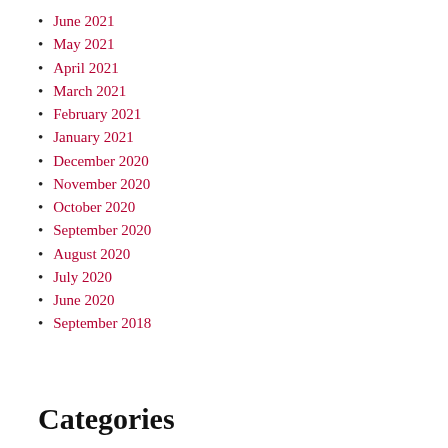June 2021
May 2021
April 2021
March 2021
February 2021
January 2021
December 2020
November 2020
October 2020
September 2020
August 2020
July 2020
June 2020
September 2018
Categories